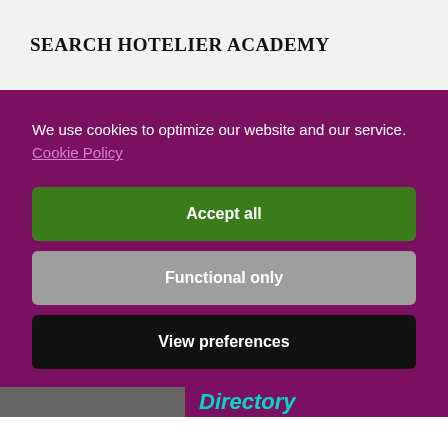SEARCH HOTELIER ACADEMY
We use cookies to optimize our website and our service.  Cookie Policy
Accept all
Functional only
View preferences
Directory